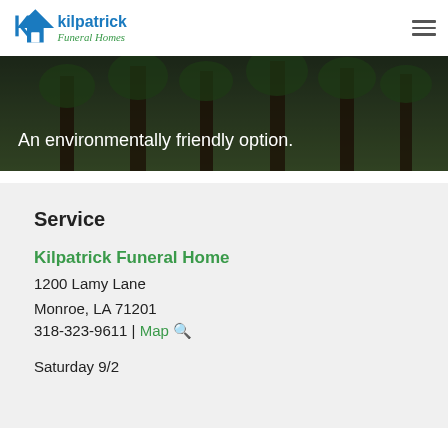Kilpatrick Funeral Homes
[Figure (photo): Forest trees background banner with text 'An environmentally friendly option.']
An environmentally friendly option.
Service
Kilpatrick Funeral Home
1200 Lamy Lane
Monroe, LA 71201
318-323-9611 | Map
Saturday 9/2